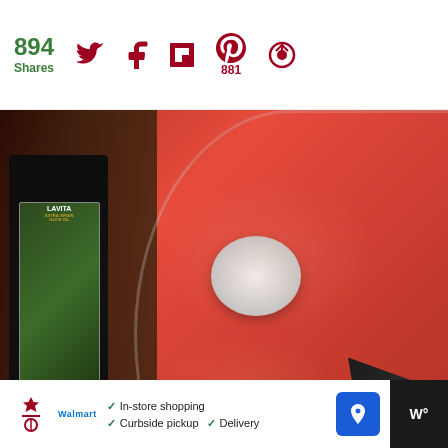894 Shares | Twitter | Facebook | Flipboard | Pinterest 881 | Share
[Figure (photo): Close-up photo of red tomato sauce blended in a food processor bowl, with a white center cap visible. A bottle of Extra Virgin Olive Oil (LAVITA brand) is visible on the left side.]
[Figure (screenshot): Overlay UI elements: teal heart button, 104 share count, share button with plus icon, and a 'WHAT'S NEXT' panel showing a thumbnail and text 'Baked Zucchini...']
WHAT'S NEXT → Baked Zucchini...
[Figure (screenshot): Advertisement banner at bottom: Walmart logo, checkmarks for 'In-store shopping', 'Curbside pickup', 'Delivery', map navigation icon, and a weather/temperature widget showing 'W°']